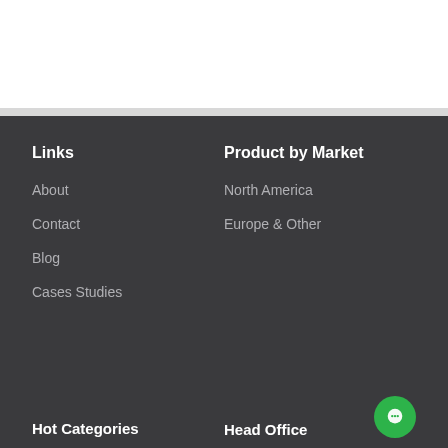Links
About
Contact
Blog
Cases Studies
Product by Market
North America
Europe & Other
Hot Categories
Head Office